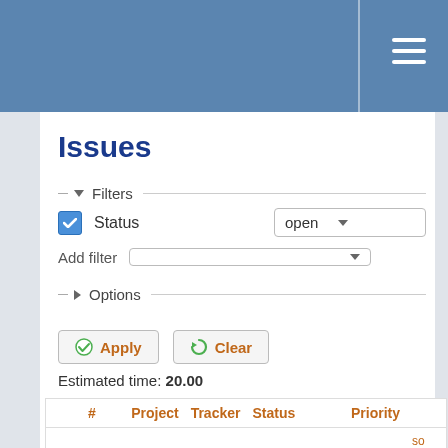Issues — header navigation bar with hamburger menu
Issues
Filters
Status  open
Add filter
Options
Apply   Clear
Estimated time: 20.00
|  | # | Project | Tracker | Status | Priority |  |
| --- | --- | --- | --- | --- | --- | --- |
|  | 4026 | QFQ | Feature | Some day maybe | Normal | so FE pr ac sq |
|  | 4023 | QFQ | Feature | New | Normal | pr ac sq |